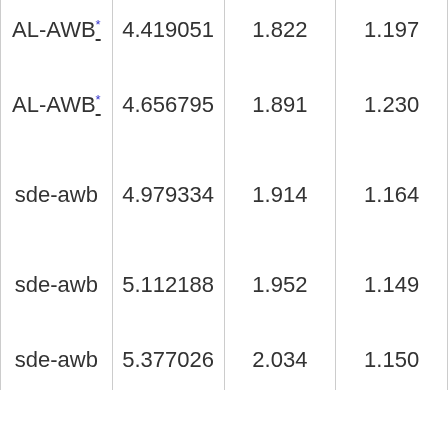| AL-AWB* | 4.419051 | 1.822 | 1.197 |
| AL-AWB* | 4.656795 | 1.891 | 1.230 |
| sde-awb | 4.979334 | 1.914 | 1.164 |
| sde-awb | 5.112188 | 1.952 | 1.149 |
| sde-awb | 5.377026 | 2.034 | 1.150 |